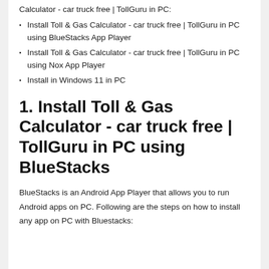Calculator - car truck free | TollGuru in PC:
Install Toll & Gas Calculator - car truck free | TollGuru in PC using BlueStacks App Player
Install Toll & Gas Calculator - car truck free | TollGuru in PC using Nox App Player
Install in Windows 11 in PC
1. Install Toll & Gas Calculator - car truck free | TollGuru in PC using BlueStacks
BlueStacks is an Android App Player that allows you to run Android apps on PC. Following are the steps on how to install any app on PC with Bluestacks: